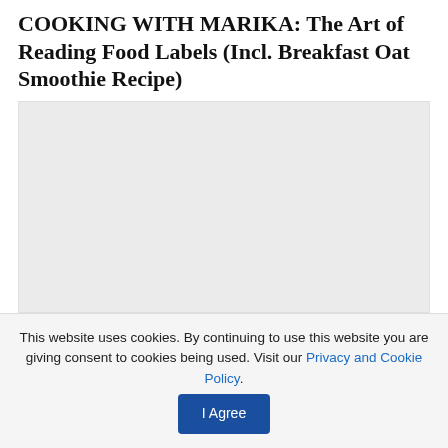COOKING WITH MARIKA: The Art of Reading Food Labels (Incl. Breakfast Oat Smoothie Recipe)
[Figure (photo): Large rectangular image placeholder with light gray background, representing a food/cooking photograph]
BY VES  AUGUST 10, 2022  24
Think of the packaging of a food – including the words on
This website uses cookies. By continuing to use this website you are giving consent to cookies being used. Visit our Privacy and Cookie Policy.  I Agree